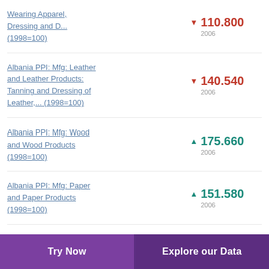Wearing Apparel, Dressing and D... (1998=100)
Albania PPI: Mfg: Leather and Leather Products: Tanning and Dressing of Leather,... (1998=100)
Albania PPI: Mfg: Wood and Wood Products (1998=100)
Albania PPI: Mfg: Paper and Paper Products (1998=100)
Try Now | Explore our Data